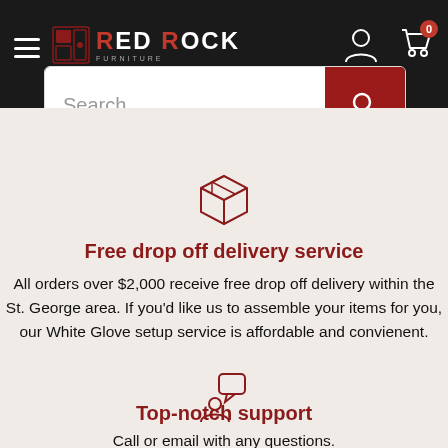[Figure (logo): Red Rock Furniture logo with hamburger menu, user and cart icons on dark navigation bar]
[Figure (screenshot): Search bar with placeholder text 'Search...' and red search button]
[Figure (illustration): Red outline box/package icon]
Free drop off delivery service
All orders over $2,000 receive free drop off delivery within the St. George area. If you'd like us to assemble your items for you, our White Glove setup service is affordable and convienent.
[Figure (illustration): Red outline person with speech bubble icon]
Top-notch support
Call or email with any questions.